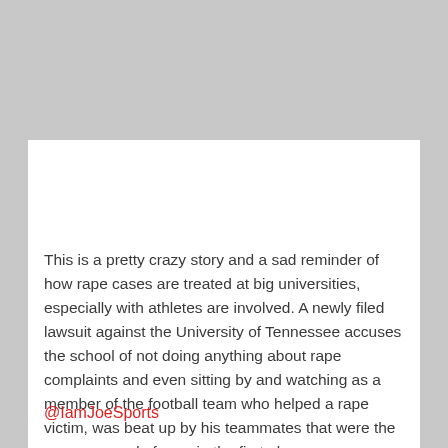This is a pretty crazy story and a sad reminder of how rape cases are treated at big universities, especially with athletes are involved. A newly filed lawsuit against the University of Tennessee accuses the school of not doing anything about rape complaints and even sitting by and watching as a member of the football team who helped a rape victim, was beat up by his teammates that were the once accused of rape in the first place.
@IamJoeSports